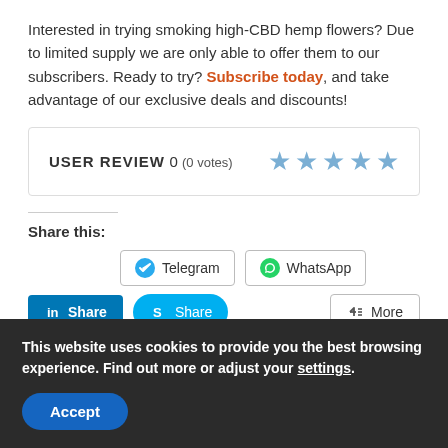Interested in trying smoking high-CBD hemp flowers? Due to limited supply we are only able to offer them to our subscribers. Ready to try? Subscribe today, and take advantage of our exclusive deals and discounts!
USER REVIEW 0 (0 votes) ★★★★★
Share this:
Telegram
WhatsApp
Share
Share
More
This website uses cookies to provide you the best browsing experience. Find out more or adjust your settings.
Accept